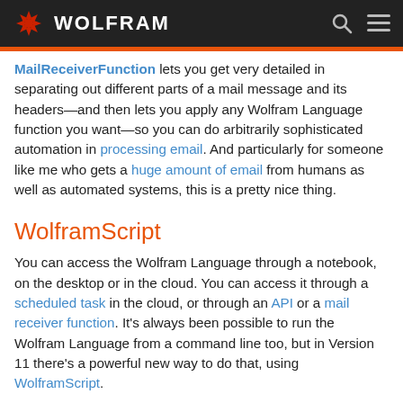WOLFRAM
MailReceiverFunction lets you get very detailed in separating out different parts of a mail message and its headers—and then lets you apply any Wolfram Language function you want—so you can do arbitrarily sophisticated automation in processing email. And particularly for someone like me who gets a huge amount of email from humans as well as automated systems, this is a pretty nice thing.
WolframScript
You can access the Wolfram Language through a notebook, on the desktop or in the cloud. You can access it through a scheduled task in the cloud, or through an API or a mail receiver function. It's always been possible to run the Wolfram Language from a command line too, but in Version 11 there's a powerful new way to do that, using WolframScript.
The idea of WolframScript is to provide a very simple but